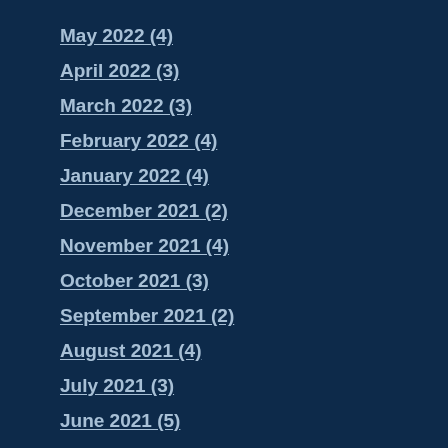May 2022 (4)
April 2022 (3)
March 2022 (3)
February 2022 (4)
January 2022 (4)
December 2021 (2)
November 2021 (4)
October 2021 (3)
September 2021 (2)
August 2021 (4)
July 2021 (3)
June 2021 (5)
May 2021 (2)